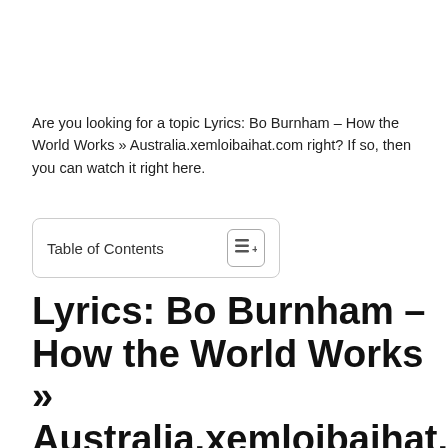Are you looking for a topic Lyrics: Bo Burnham – How the World Works » Australia.xemloibaihat.com right? If so, then you can watch it right here.
Table of Contents
Lyrics: Bo Burnham – How the World Works » Australia.xemloibaihat.com | You can find many of the best lyrics here